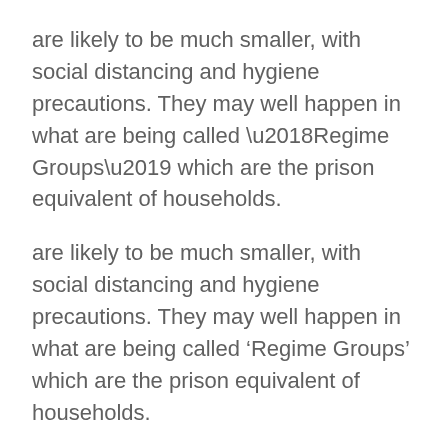are likely to be much smaller, with social distancing and hygiene precautions. They may well happen in what are being called ‘Regime Groups’ which are the prison equivalent of households.
ADDITIONAL GUIDANCE
1. Shielding and other restrictions
Importantly, if the government has advised you to shield yourself during this time for any reason, you must not attend prison until the restriction is lifted. Prison Fellowship’s insurance may not cover you if you go into prison against any relevant Government advice.